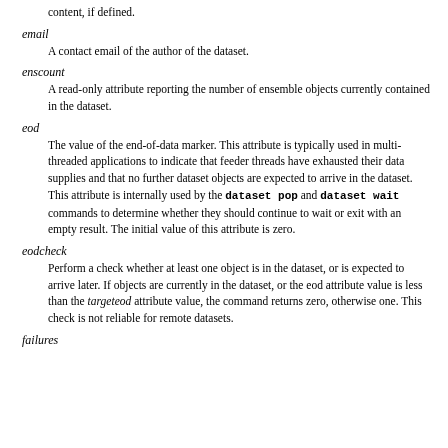content, if defined.
email
    A contact email of the author of the dataset.
enscount
    A read-only attribute reporting the number of ensemble objects currently contained in the dataset.
eod
    The value of the end-of-data marker. This attribute is typically used in multi-threaded applications to indicate that feeder threads have exhausted their data supplies and that no further dataset objects are expected to arrive in the dataset. This attribute is internally used by the dataset pop and dataset wait commands to determine whether they should continue to wait or exit with an empty result. The initial value of this attribute is zero.
eodcheck
    Perform a check whether at least one object is in the dataset, or is expected to arrive later. If objects are currently in the dataset, or the eod attribute value is less than the targeteod attribute value, the command returns zero, otherwise one. This check is not reliable for remote datasets.
failures